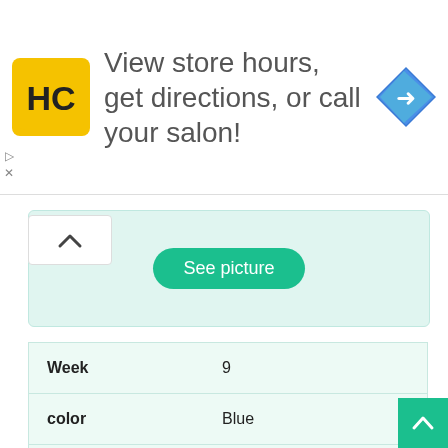[Figure (screenshot): Haircut salon ad banner with HC logo, text 'View store hours, get directions, or call your salon!' and a navigation arrow icon]
[Figure (screenshot): Collapsible section with light teal background showing a 'See picture' button]
| Week | 9 |
| color | Blue |
| Unit | 04A |
| Beds/Baths | 1 / 1 |
| Max Occ | 4 |
| Sold |  |